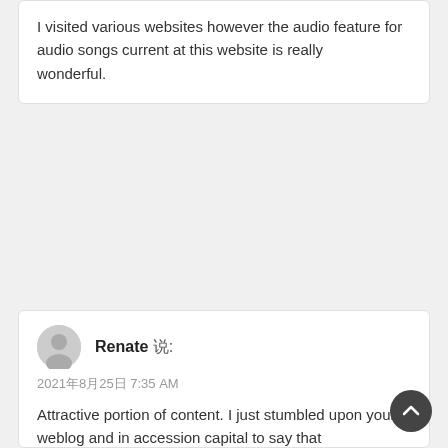I visited various websites however the audio feature for audio songs current at this website is really wonderful.
Renate 说:
2021年8月25日 7:35 AM
Attractive portion of content. I just stumbled upon your weblog and in accession capital to say that I acquire actually loved account your weblog posts. Anyway I will be subscribing in your feeds and even I fulfillment you get right of entry to